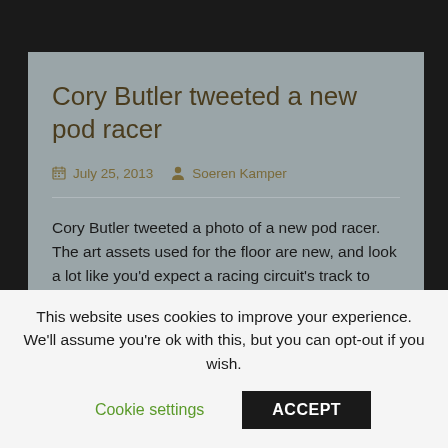Cory Butler tweeted a new pod racer
July 25, 2013   Soeren Kamper
Cory Butler tweeted a photo of a new pod racer. The art assets used for the floor are new, and look a lot like you'd expect a racing circuit's track to look like. A few data minings ago, we found some data that seemed to be something like podracing tracks with boost pads. Could it
This website uses cookies to improve your experience. We'll assume you're ok with this, but you can opt-out if you wish.
Cookie settings
ACCEPT